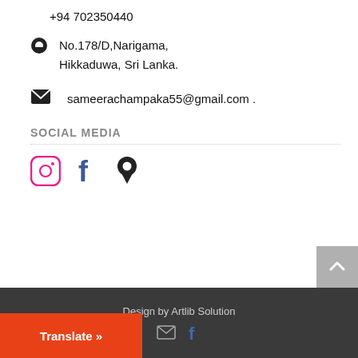+94 702350440
No.178/D,Narigama, Hikkaduwa, Sri Lanka.
sameerachampaka55@gmail.com .
SOCIAL MEDIA
[Figure (other): Social media icons: Instagram (pink circle), Facebook (blue f), and a map pin icon]
Design by Artlib Solution
Translate »